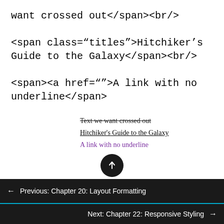want crossed out</span><br/>
<span class="titles">Hitchiker's Guide to the Galaxy</span><br/>
<span><a href="">A link with no underline</span>
[Figure (screenshot): Rendered output showing: strikethrough text 'Text we want crossed out', underlined link 'Hitchiker's Guide to the Galaxy', and purple text 'A link with no underline']
← Previous: Chapter 20: Layout Formatting
Next: Chapter 22: Responsive Styling →